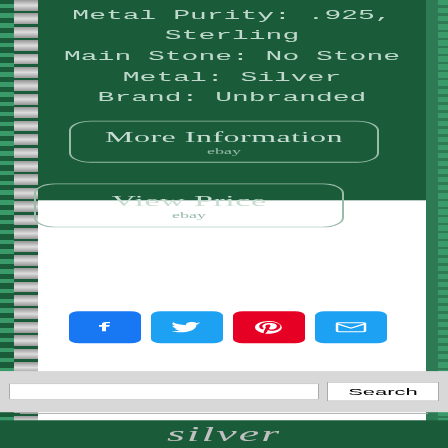Metal Purity: .925, Sterling
Main Stone: No Stone
Metal: Silver
Brand: Unbranded
[Figure (other): Button/link labeled 'More Information' with 'ebay' subtitle, rounded rectangle border on green background]
[Figure (other): Button/link labeled 'View Price' with 'ebay' subtitle, rounded rectangle border on green background]
[Figure (other): Social media share icons row: Facebook (blue), Twitter (blue), Pinterest (red), Email (blue)]
[Figure (other): Search bar with text input field and Search button]
silver